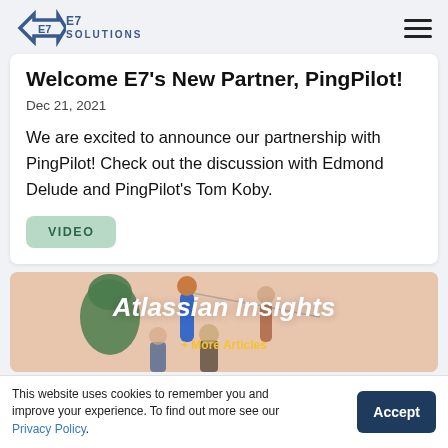[Figure (logo): E7 Solutions logo with stylized E7 mark and E7SOLUTIONS text]
Welcome E7's New Partner, PingPilot!
Dec 21, 2021
We are excited to announce our partnership with PingPilot! Check out the discussion with Edmond Delude and PingPilot's Tom Koby.
VIDEO
[Figure (illustration): Atlassian Insights teaser card with illustrated people and salmon/peach background]
Atlassian Insights
This website uses cookies to remember you and improve your experience. To find out more see our Privacy Policy.
Accept